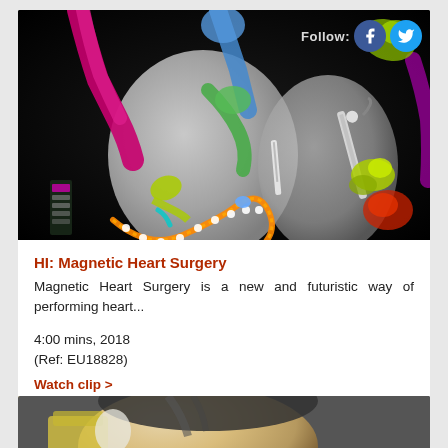[Figure (photo): 3D medical imaging visualization of a heart with colorful anatomical structures labeled with different colors (magenta, blue, green, yellow, red) on a black background, with surgical instruments visible. Social media follow buttons (Facebook and Twitter) visible in top right corner.]
HI: Magnetic Heart Surgery
Magnetic Heart Surgery is a new and futuristic way of performing heart...
4:00 mins, 2018
(Ref: EU18828)
Watch clip >
[Figure (photo): Partial view of a person's head/face, bottom portion of second card, cropped at bottom of page.]